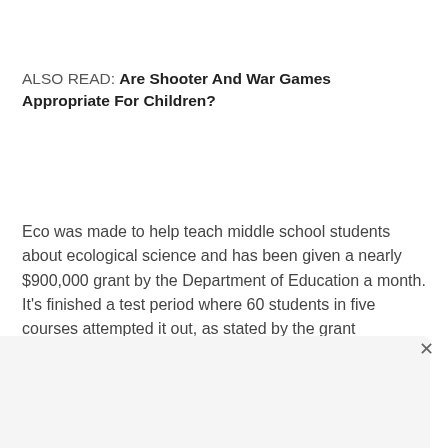ALSO READ: Are Shooter And War Games Appropriate For Children?
Eco was made to help teach middle school students about ecological science and has been given a nearly $900,000 grant by the Department of Education a month. It's finished a test period where 60 students in five courses attempted it out, as stated by the grant